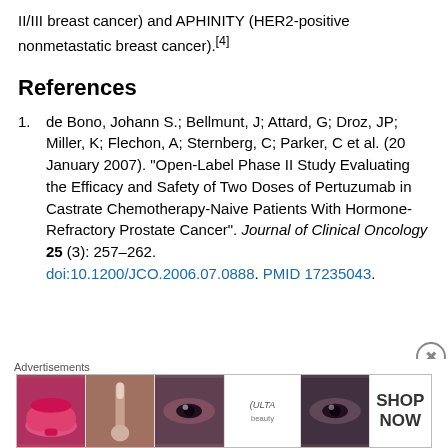II/III breast cancer) and APHINITY (HER2-positive nonmetastatic breast cancer).[4]
References
1. de Bono, Johann S.; Bellmunt, J; Attard, G; Droz, JP; Miller, K; Flechon, A; Sternberg, C; Parker, C et al. (20 January 2007). "Open-Label Phase II Study Evaluating the Efficacy and Safety of Two Doses of Pertuzumab in Castrate Chemotherapy-Naive Patients With Hormone-Refractory Prostate Cancer". Journal of Clinical Oncology 25 (3): 257–262. doi:10.1200/JCO.2006.07.0888. PMID 17235043.
[Figure (other): Advertisement banner for ULTA Beauty with cosmetics imagery and SHOP NOW call to action]